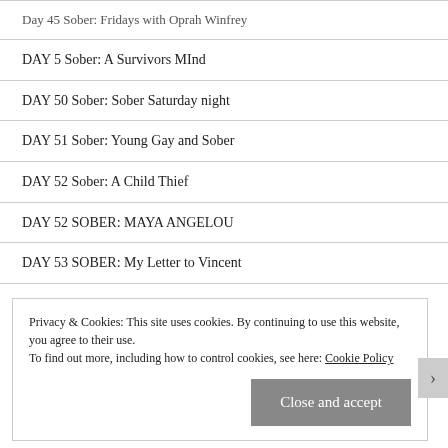Day 45 Sober: Fridays with Oprah Winfrey
DAY 5 Sober: A Survivors MInd
DAY 50 Sober: Sober Saturday night
DAY 51 Sober: Young Gay and Sober
DAY 52 Sober: A Child Thief
DAY 52 SOBER: MAYA ANGELOU
DAY 53 SOBER: My Letter to Vincent
Privacy & Cookies: This site uses cookies. By continuing to use this website, you agree to their use.
To find out more, including how to control cookies, see here: Cookie Policy
Close and accept